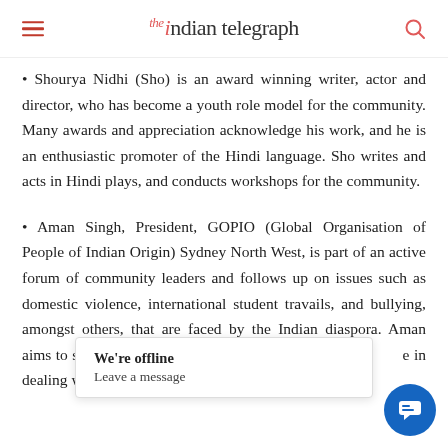the indian telegraph
• Shourya Nidhi (Sho) is an award winning writer, actor and director, who has become a youth role model for the community. Many awards and appreciation acknowledge his work, and he is an enthusiastic promoter of the Hindi language. Sho writes and acts in Hindi plays, and conducts workshops for the community.
• Aman Singh, President, GOPIO (Global Organisation of People of Indian Origin) Sydney North West, is part of an active forum of community leaders and follows up on issues such as domestic violence, international student travails, and bullying, amongst others, that are faced by the Indian diaspora. Aman aims to support and advise people on … dealing with and encountering such issues.